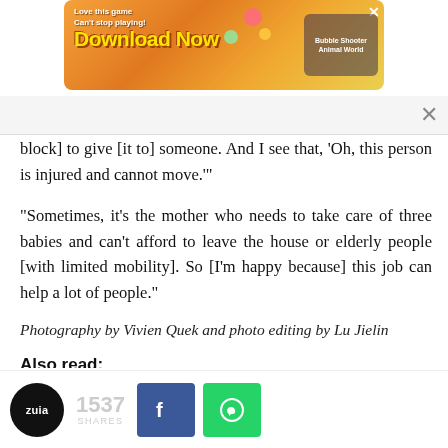[Figure (screenshot): Advertisement banner for a mobile game with 'Download Now' text and 'Bubble Shooter Animal World' branding]
block] to give [it to] someone. And I see that, ‘Oh, this person is injured and cannot move.’”
“Sometimes, it’s the mother who needs to take care of three babies and can’t afford to leave the house or elderly people [with limited mobility]. So [I’m happy because] this job can help a lot of people.”
Photography by Vivien Quek and photo editing by Lu Jielin
Also read:
Female Singaporean McDelivery Rider Reveals
[Figure (screenshot): Bottom navigation bar with Zuia logo, 1537 shares count, Facebook share button, and WhatsApp share button]